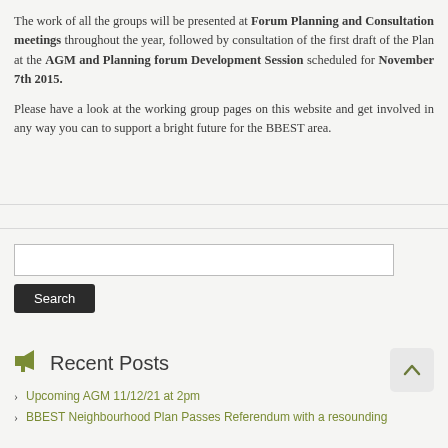The work of all the groups will be presented at Forum Planning and Consultation meetings throughout the year, followed by consultation of the first draft of the Plan at the AGM and Planning forum Development Session scheduled for November 7th 2015.
Please have a look at the working group pages on this website and get involved in any way you can to support a bright future for the BBEST area.
Search
Recent Posts
Upcoming AGM 11/12/21 at 2pm
BBEST Neighbourhood Plan Passes Referendum with a resounding